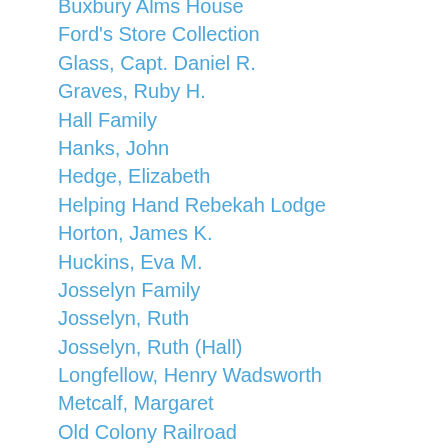Buxbury Alms House
Ford's Store Collection
Glass, Capt. Daniel R.
Graves, Ruby H.
Hall Family
Hanks, John
Hedge, Elizabeth
Helping Hand Rebekah Lodge
Horton, James K.
Huckins, Eva M.
Josselyn Family
Josselyn, Ruth
Josselyn, Ruth (Hall)
Longfellow, Henry Wadsworth
Metcalf, Margaret
Old Colony Railroad
Paulding, Emma C.
Peterson, Betsey A.
Richardson, George P.
Ripley Collections